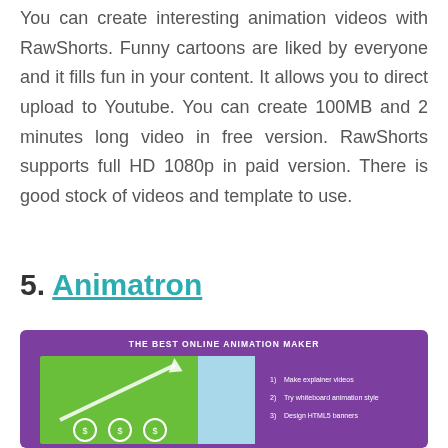You can create interesting animation videos with RawShorts. Funny cartoons are liked by everyone and it fills fun in your content. It allows you to direct upload to Youtube. You can create 100MB and 2 minutes long video in free version. RawShorts supports full HD 1080p in paid version. There is good stock of videos and template to use.
5. Animatron
[Figure (screenshot): Animatron banner showing 'THE BEST ONLINE ANIMATION MAKER' on a purple background with a green area containing icons and an arrow, and a list showing: Make explainer videos, Try whiteboard animation style, Design HTML5 banners]